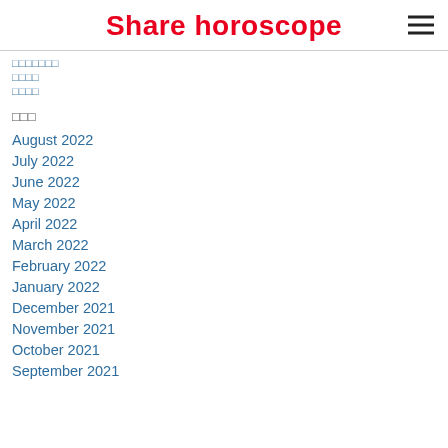Share horoscope
ааааааа
аааа
аааа
ааа
August 2022
July 2022
June 2022
May 2022
April 2022
March 2022
February 2022
January 2022
December 2021
November 2021
October 2021
September 2021